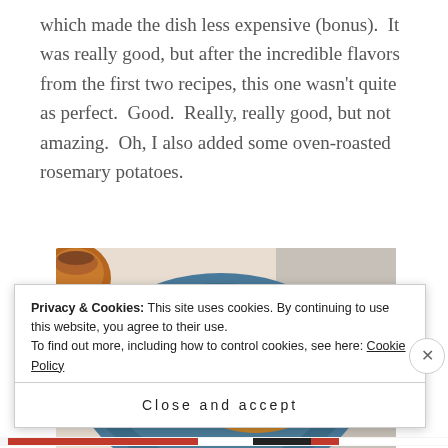which made the dish less expensive (bonus).  It was really good, but after the incredible flavors from the first two recipes, this one wasn't quite as perfect.  Good.  Really, really good, but not amazing.  Oh, I also added some oven-roasted rosemary potatoes.
[Figure (photo): A blue ceramic plate with roasted chicken, brussels sprouts, and red peppers. A copper cup is visible in the upper left. A gray linen napkin is in the background.]
Privacy & Cookies: This site uses cookies. By continuing to use this website, you agree to their use.
To find out more, including how to control cookies, see here: Cookie Policy
Close and accept